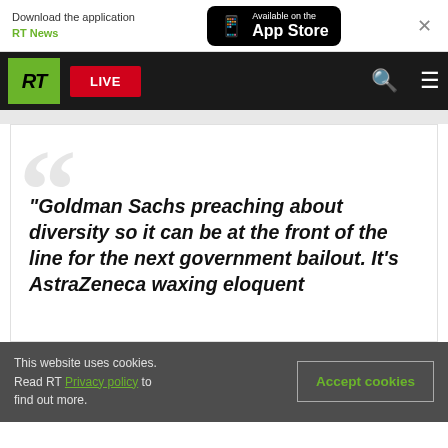Download the application RT News | Available on the App Store
[Figure (screenshot): RT news website navigation bar with green RT logo, red LIVE button, search icon, and hamburger menu on black background]
“Goldman Sachs preaching about diversity so it can be at the front of the line for the next government bailout. It’s AstraZeneca waxing eloquent
This website uses cookies. Read RT Privacy policy to find out more.
Accept cookies